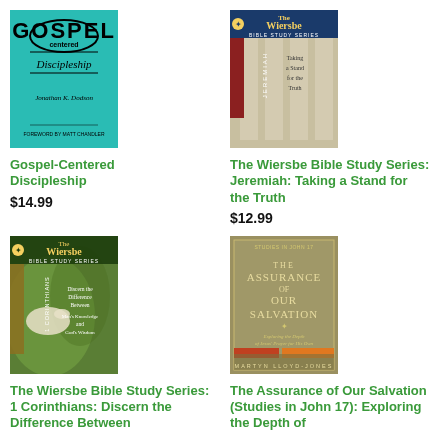[Figure (photo): Book cover: Gospel-Centered Discipleship by Jonathan K. Dodson, teal/turquoise background with large stylized text]
Gospel-Centered Discipleship
$14.99
[Figure (photo): Book cover: The Wiersbe Bible Study Series: Jeremiah, showing columns and text 'Taking a Stand for the Truth']
The Wiersbe Bible Study Series: Jeremiah: Taking a Stand for the Truth
$12.99
[Figure (photo): Book cover: The Wiersbe Bible Study Series: 1 Corinthians, green background with dove image, text 'Discern the Difference Between Man's Knowledge and God's Wisdom']
The Wiersbe Bible Study Series: 1 Corinthians: Discern the Difference Between
[Figure (photo): Book cover: The Assurance of Our Salvation (Studies in John 17) by Martyn Lloyd-Jones, olive/gold cover]
The Assurance of Our Salvation (Studies in John 17): Exploring the Depth of